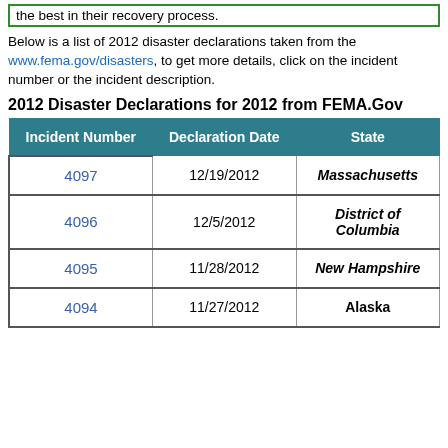the best in their recovery process.
Below is a list of 2012 disaster declarations taken from the www.fema.gov/disasters, to get more details, click on the incident number or the incident description.
2012 Disaster Declarations for 2012 from FEMA.Gov
| Incident Number | Declaration Date | State |
| --- | --- | --- |
| 4097 | 12/19/2012 | Massachusetts |
| 4096 | 12/5/2012 | District of Columbia |
| 4095 | 11/28/2012 | New Hampshire |
| 4094 | 11/27/2012 | Alaska |